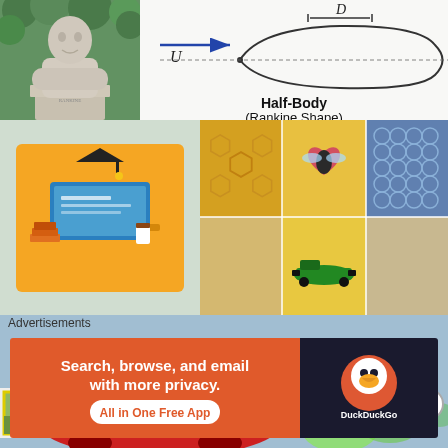[Figure (photo): Stone bust sculpture of a person (likely Rankine) against green foliage background]
[Figure (schematic): Half-Body (Rankine Shape) fluid mechanics diagram showing flow with arrow labeled U and dimension D]
[Figure (illustration): Orange illustration of laptop with graduation cap - educational/online learning graphic]
[Figure (photo): Collage of 5 images: honeycomb pattern, fly insect, bubble wrap, tan square, Formula 1 racing car]
[Figure (engineering-diagram): CFD (Computational Fluid Dynamics) simulation of airflow around a race car showing turbulent wake in red/green/yellow/cyan colors]
[Figure (screenshot): Partial screenshot showing thumbnail of tree image and mathematical expression with 1/4, 1/2]
Advertisements
[Figure (other): DuckDuckGo advertisement banner: Search, browse, and email with more privacy. All in One Free App]